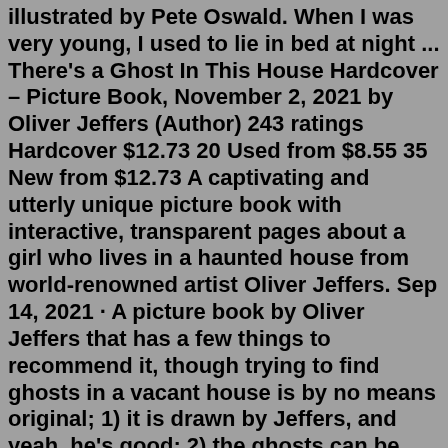illustrated by Pete Oswald. When I was very young, I used to lie in bed at night ... There's a Ghost In This House Hardcover – Picture Book, November 2, 2021 by Oliver Jeffers (Author) 243 ratings Hardcover $12.73 20 Used from $8.55 35 New from $12.73 A captivating and utterly unique picture book with interactive, transparent pages about a girl who lives in a haunted house from world-renowned artist Oliver Jeffers. Sep 14, 2021 · A picture book by Oliver Jeffers that has a few things to recommend it, though trying to find ghosts in a vacant house is by no means original; 1) it is drawn by Jeffers, and yeah, he's good; 2) the ghosts can be found for the most part on transparencies throughout; 3) Jeffers used pages from a book depicting an old mansion for the book, I liked that, and 4) the girl that cluelessly leads us ... There's a Ghost * in this house *A Fraid of Ghosts A young girl lives alone in a house she believes is haunted, but she has never actually seen a ghost herself. What do they look like? Are they white with holes for eyes? Do they only come out at night? She'd love to know! Buy